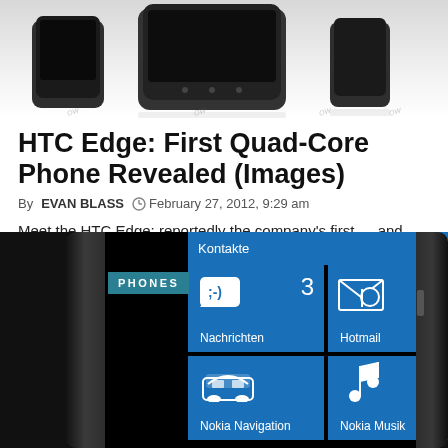[Figure (photo): Three HTC smartphones shown from front and side angles against a light gray/white background with reflections]
HTC Edge: First Quad-Core Phone Revealed (Images)
By EVAN BLASS  ◴ February 27, 2012, 9:29 am
Meet the HTC Edge: reportedly the company’s first — and probably one…
[Figure (photo): Smartphone with Windows Phone interface showing blue tiles including Kontakte, Nachrichten (3), Hotmail (5), Nokia Navigation, Nokia Musik. A teal PHONES badge overlays the top-left area.]